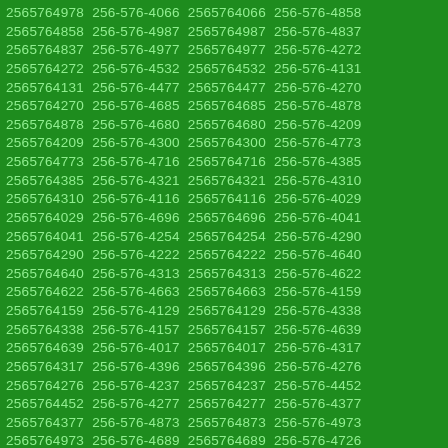2565764978 256-576-4066 2565764066 256-576-4858 2565764858 256-576-4987 2565764987 256-576-4837 2565764837 256-576-4977 2565764977 256-576-4272 2565764272 256-576-4532 2565764532 256-576-4131 2565764131 256-576-4477 2565764477 256-576-4270 2565764270 256-576-4685 2565764685 256-576-4878 2565764878 256-576-4680 2565764680 256-576-4209 2565764209 256-576-4300 2565764300 256-576-4773 2565764773 256-576-4716 2565764716 256-576-4385 2565764385 256-576-4321 2565764321 256-576-4310 2565764310 256-576-4116 2565764116 256-576-4029 2565764029 256-576-4696 2565764696 256-576-4041 2565764041 256-576-4254 2565764254 256-576-4290 2565764290 256-576-4222 2565764222 256-576-4640 2565764640 256-576-4313 2565764313 256-576-4622 2565764622 256-576-4663 2565764663 256-576-4159 2565764159 256-576-4129 2565764129 256-576-4338 2565764338 256-576-4157 2565764157 256-576-4639 2565764639 256-576-4017 2565764017 256-576-4317 2565764317 256-576-4396 2565764396 256-576-4276 2565764276 256-576-4237 2565764237 256-576-4452 2565764452 256-576-4277 2565764277 256-576-4377 2565764377 256-576-4873 2565764873 256-576-4973 2565764973 256-576-4689 2565764689 256-576-4726 2565764726 256-576-4006 2565764006 256-576-4553 2565764553 256-576-4084 2565764084 256-576-4855